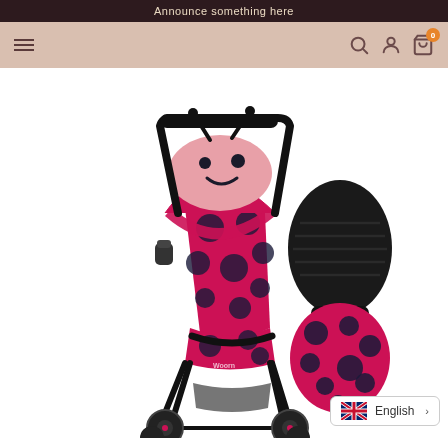Announce something here
[Figure (screenshot): E-commerce website navigation bar with hamburger menu on the left, search, account, and cart icons on the right with badge showing 0, on a pinkish-beige background]
[Figure (photo): Ladybug-themed baby stroller with red and dark navy polka dot fabric, a ladybug face canopy with antennae, black frame, and a matching footmuff/cosy toes accessory shown to the right]
English